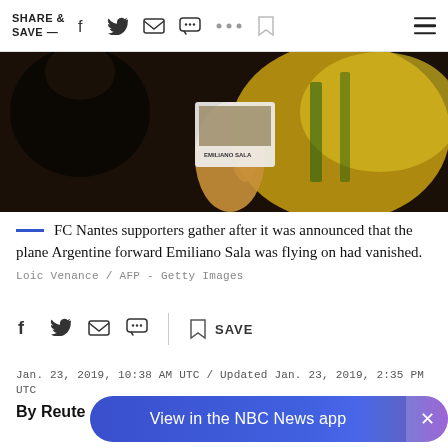SHARE & SAVE —
[Figure (photo): Person holding a photo/scarf with text 'EMILIANO SALA', wearing or near a yellow FC Nantes jersey, dark blurred background]
FC Nantes supporters gather after it was announced that the plane Argentine forward Emiliano Sala was flying on had vanished. Loic Venance / AFP - Getty Images
SAVE
Jan. 23, 2019, 10:38 AM UTC / Updated Jan. 23, 2019, 2:35 PM UTC
By Reuters
View in the NBC News app